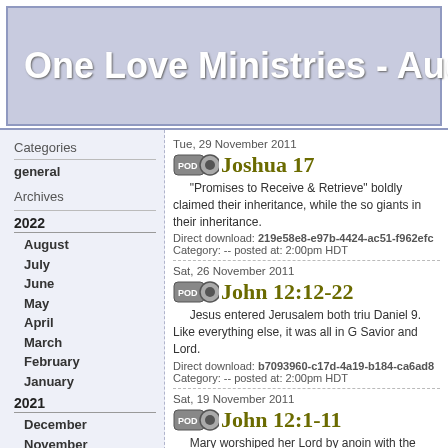One Love Ministries - Audi
Categories
general
Archives
2022
August
July
June
May
April
March
February
January
2021
December
November
October
September
August
Tue, 29 November 2011
Joshua 17
"Promises to Receive & Retrieve" boldly claimed their inheritance, while the so giants in their inheritance.
Direct download: 219e58e8-e97b-4424-ac51-f962efc
Category: -- posted at: 2:00pm HDT
Sat, 26 November 2011
John 12:12-22
Jesus entered Jerusalem both triu Daniel 9. Like everything else, it was all in G Savior and Lord.
Direct download: b7093960-c17d-4a19-b184-ca6ad8
Category: -- posted at: 2:00pm HDT
Sat, 19 November 2011
John 12:1-11
Mary worshiped her Lord by anoin with the fragrance of the perfume. Sweet arc
Direct download: 82380885-2814-4bd8-99c4-c4efafb
Category: -- posted at: 2:00pm HDT